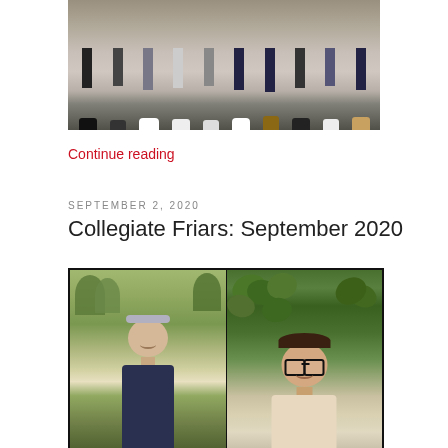[Figure (photo): Group photo of students standing together outdoors, showing their legs and lower bodies, wearing various shoes and casual attire]
Continue reading
SEPTEMBER 2, 2020
Collegiate Friars: September 2020
[Figure (photo): Two side-by-side portrait photos: left shows a young man wearing a cap and dark shirt outdoors on a golf course; right shows a young woman with glasses and long hair smiling in front of green foliage]